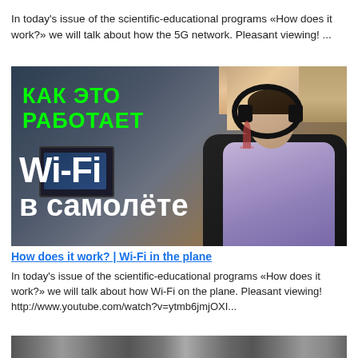In today's issue of the scientific-educational programs «How does it work?» we will talk about how the 5G network. Pleasant viewing! ...
[Figure (photo): Promotional image for a video about Wi-Fi on planes. Dark background showing a man in business class airplane seat wearing headphones, holding a wine glass, with a laptop. Green Cyrillic text reads 'КАК ЭТО РАБОТАЕТ' and large white text reads 'Wi-Fi в самолёте'.]
How does it work? | Wi-Fi in the plane
In today's issue of the scientific-educational programs «How does it work?» we will talk about how Wi-Fi on the plane. Pleasant viewing! http://www.youtube.com/watch?v=ytmb6jmjOXI...
[Figure (photo): Bottom strip of another thumbnail image, appears to be an outdoor scene with multiple vehicles.]